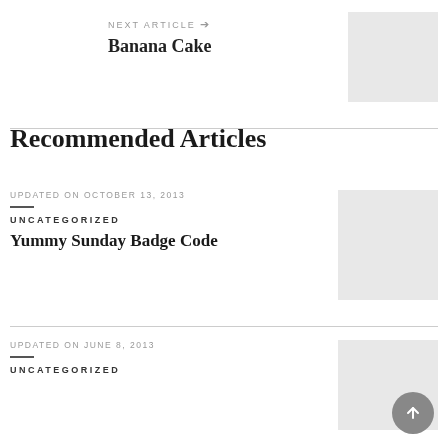NEXT ARTICLE →
Banana Cake
[Figure (photo): Placeholder image for Banana Cake article]
Recommended Articles
UPDATED ON OCTOBER 13, 2013
UNCATEGORIZED
Yummy Sunday Badge Code
[Figure (photo): Placeholder image for Yummy Sunday Badge Code article]
UPDATED ON JUNE 8, 2013
UNCATEGORIZED